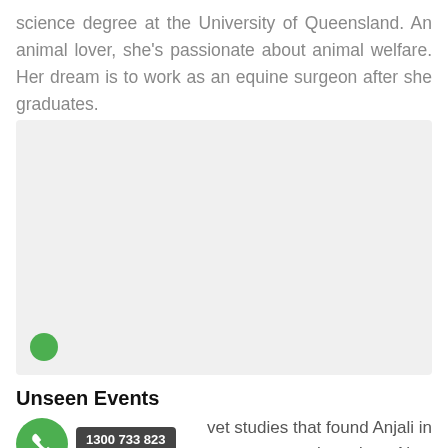science degree at the University of Queensland. An animal lover, she's passionate about animal welfare. Her dream is to work as an equine surgeon after she graduates.
[Figure (photo): A large light grey placeholder image area with a green circle in the lower left corner representing a photo of a person or animal.]
Unseen Events
It p [1300 733 823] vet studies that found Anjali in a car driving along a remote gravel road on New Zealand's